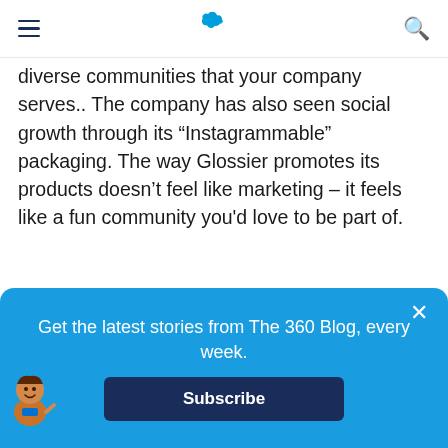Salesforce navigation bar with hamburger menu, Salesforce cloud logo, and search icon
diverse communities that your company serves.. The company has also seen social growth through its “Instagrammable” packaging. The way Glossier promotes its products doesn’t feel like marketing – it feels like a fun community you’d love to be part of.
[Figure (screenshot): Instagram screenshot showing a photo of a person with dark hair on the left side, and on the right side an Instagram post from @glossier with a Follow button, a comment reading 'glossier ● When Chris met Bubblewrap! @topitcum' and a like count.]
Get the latest stories from The 360 Blog, every week.
Subscribe